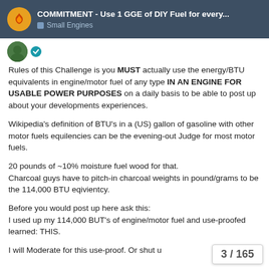COMMITMENT - Use 1 GGE of DIY Fuel for every... | Small Engines
Rules of this Challenge is you MUST actually use the energy/BTU equivalents in engine/motor fuel of any type IN AN ENGINE FOR USABLE POWER PURPOSES on a daily basis to be able to post up about your developments experiences.
Wikipedia's definition of BTU's in a (US) gallon of gasoline with other motor fuels equilencies can be the evening-out Judge for most motor fuels.
20 pounds of ~10% moisture fuel wood for that.
Charcoal guys have to pitch-in charcoal weights in pound/grams to be the 114,000 BTU eqivientcy.
Before you would post up here ask this:
I used up my 114,000 BUT's of engine/motor fuel and use-proofed learned: THIS.
I will Moderate for this use-proof. Or shut u
3 / 165